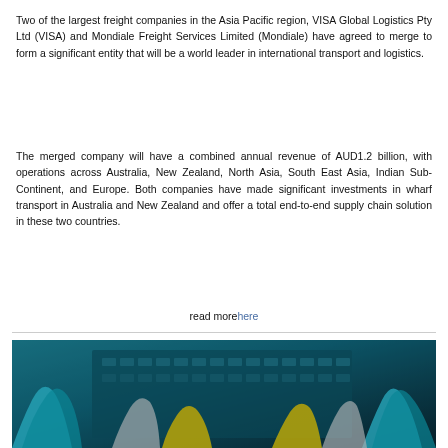Two of the largest freight companies in the Asia Pacific region, VISA Global Logistics Pty Ltd (VISA) and Mondiale Freight Services Limited (Mondiale) have agreed to merge to form a significant entity that will be a world leader in international transport and logistics.
The merged company will have a combined annual revenue of AUD1.2 billion, with operations across Australia, New Zealand, North Asia, South East Asia, Indian Sub-Continent, and Europe. Both companies have made significant investments in wharf transport in Australia and New Zealand and offer a total end-to-end supply chain solution in these two countries.
read morehere
[Figure (photo): Close-up photograph of network cables and server hardware — teal/blue colored patch cables with yellow and white connectors plugged into a rack panel with numbered ports.]